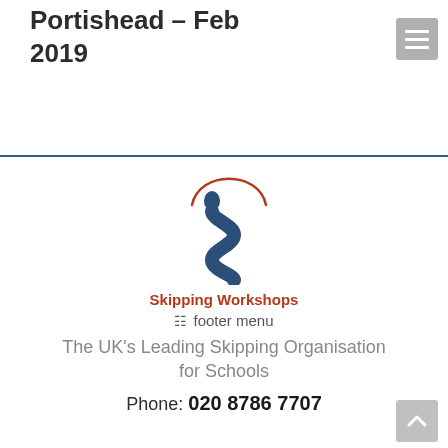Portishead – Feb 2019
[Figure (logo): Skipping Workshops logo: a stylized S shape in dark blue with a red arc above representing a skipping rope, and a small oval head figure]
Skipping Workshops
☰ footer menu
The UK's Leading Skipping Organisation for Schools
Phone: 020 8786 7707